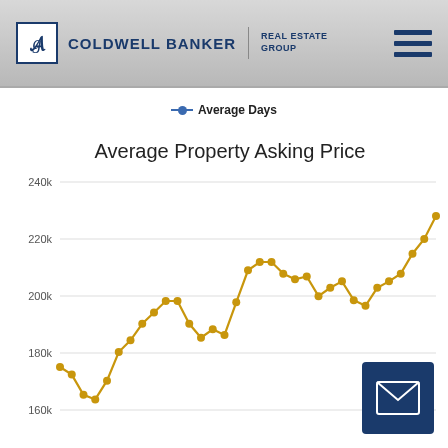COLDWELL BANKER | REAL ESTATE GROUP
[Figure (line-chart): Line chart showing average property asking price over time. Y-axis ranges from approximately 160k to 240k. The line starts around 175k, dips to about 162k, then trends upward with fluctuations, reaching approximately 228k at the rightmost data point. Key values: ~175k, ~172k, ~165k, ~163k, ~168k, ~178k, ~182k, ~188k, ~193k, ~197k, ~197k, ~188k, ~183k, ~186k, ~184k, ~198k, ~210k, ~213k, ~213k, ~209k, ~207k, ~208k, ~200k, ~203k, ~205k, ~199k, ~197k, ~203k, ~205k, ~207k, ~215k, ~220k, ~228k]